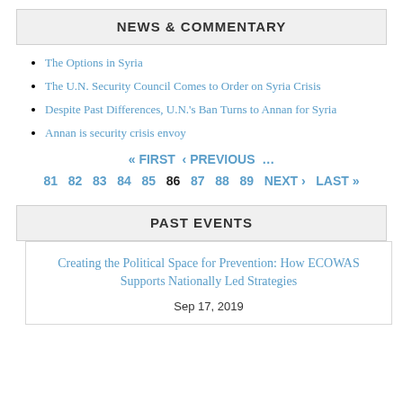NEWS & COMMENTARY
The Options in Syria
The U.N. Security Council Comes to Order on Syria Crisis
Despite Past Differences, U.N.'s Ban Turns to Annan for Syria
Annan is security crisis envoy
« FIRST  ‹ PREVIOUS  …  81  82  83  84  85  86  87  88  89  NEXT ›  LAST »
PAST EVENTS
Creating the Political Space for Prevention: How ECOWAS Supports Nationally Led Strategies
Sep 17, 2019